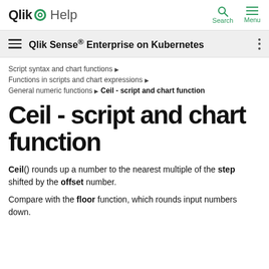Qlik Help — Search — Menu
Qlik Sense® Enterprise on Kubernetes
Script syntax and chart functions ▶ Functions in scripts and chart expressions ▶ General numeric functions ▶ Ceil - script and chart function
Ceil - script and chart function
Ceil() rounds up a number to the nearest multiple of the step shifted by the offset number.

Compare with the floor function, which rounds input numbers down.